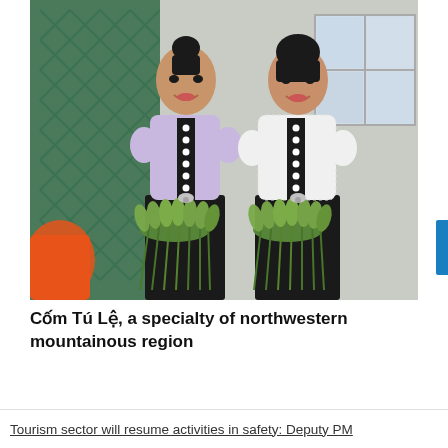[Figure (photo): Two Vietnamese women in traditional Thai ethnic attire — white/lavender blouses with black decorative fronts and black skirts — holding bundles of young green rice (Com) in front of a building with a green metal grill door and a white-framed window.]
Cốm Tú Lệ, a specialty of northwestern mountainous region
Tourism sector will resume activities in safety: Deputy PM